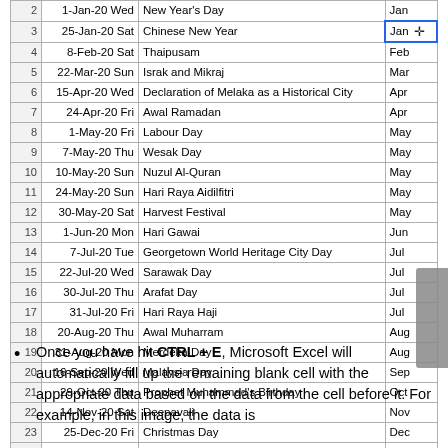|  | Date | Holiday | Month |
| --- | --- | --- | --- |
| 2 | 1-Jan-20 Wed | New Year's Day | Jan |
| 3 | 25-Jan-20 Sat | Chinese New Year | Jan |
| 4 | 8-Feb-20 Sat | Thaipusam | Feb |
| 5 | 22-Mar-20 Sun | Israk and Mikraj | Mar |
| 6 | 15-Apr-20 Wed | Declaration of Melaka as a Historical City | Apr |
| 7 | 24-Apr-20 Fri | Awal Ramadan | Apr |
| 8 | 1-May-20 Fri | Labour Day | May |
| 9 | 7-May-20 Thu | Wesak Day | May |
| 10 | 10-May-20 Sun | Nuzul Al-Quran | May |
| 11 | 24-May-20 Sun | Hari Raya Aidilfitri | May |
| 12 | 30-May-20 Sat | Harvest Festival | May |
| 13 | 1-Jun-20 Mon | Hari Gawai | Jun |
| 14 | 7-Jul-20 Tue | Georgetown World Heritage City Day | Jul |
| 15 | 22-Jul-20 Wed | Sarawak Day | Jul |
| 16 | 30-Jul-20 Thu | Arafat Day | Jul |
| 17 | 31-Jul-20 Fri | Hari Raya Haji | Jul |
| 18 | 20-Aug-20 Thu | Awal Muharram | Aug |
| 19 | 31-Aug-20 Mon | Merdeka Day | Aug |
| 20 | 16-Sep-20 Wed | Malaysia Day | Sep |
| 21 | 29-Oct-20 Thu | Prophet Muhammad's Birthday | Oct |
| 22 | 14-Nov-20 Sat | Deepavali | Nov |
| 23 | 25-Dec-20 Fri | Christmas Day | Dec |
| 24 |  |  |  |
Once you have hit CTRL + E, Microsoft Excel will automatically fill up the remaining blank cell with the appropriate data based on the data from the cell before it. For example, in this image, the data is